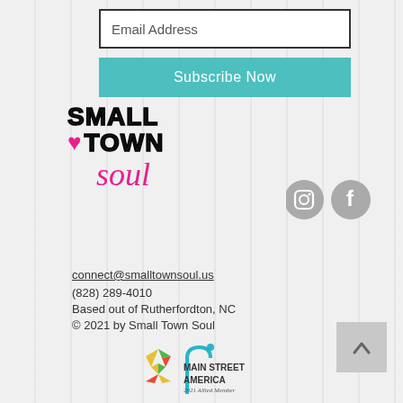Email Address
Subscribe Now
[Figure (logo): Small Town Soul logo with heart icon, bold SMALL TOWN text and cursive soul text in pink]
[Figure (illustration): Instagram and Facebook circular grey social media icons]
connect@smalltownsoul.us
(828) 289-4010
Based out of Rutherfordton, NC
© 2021 by Small Town Soul
[Figure (logo): Main Street America logo with teal street lamp and colorful star/arrow icon, text reads MAIN STREET AMERICA and 2021 Allied Member]